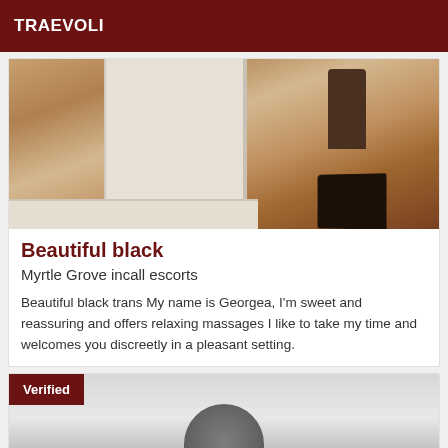TRAEVOLI
[Figure (photo): Photo showing legs with high heels on a wooden floor near a white door/baseboard]
Beautiful black
Myrtle Grove incall escorts
Beautiful black trans My name is Georgea, I'm sweet and reassuring and offers relaxing massages I like to take my time and welcomes you discreetly in a pleasant setting.
[Figure (photo): Second listing photo with Verified badge, partially visible image of a figure]